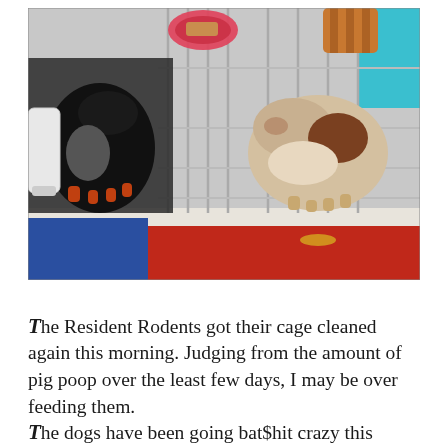[Figure (photo): Overhead/angled view of two guinea pigs inside a cage with metal wire bars. One guinea pig is dark (black and white), the other is lighter (brown and white). A pink food bowl is visible at the top, a striped wooden chew toy, a white water bottle on the left, and colorful items (blue, red, teal) visible below the cage shelf.]
The Resident Rodents got their cage cleaned again this morning. Judging from the amount of pig poop over the least few days, I may be over feeding them.
The dogs have been going bat$hit crazy this